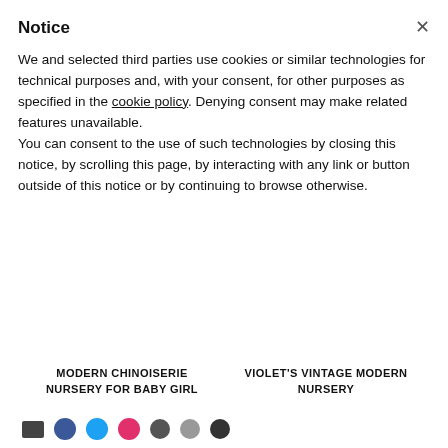Notice
We and selected third parties use cookies or similar technologies for technical purposes and, with your consent, for other purposes as specified in the cookie policy. Denying consent may make related features unavailable.
You can consent to the use of such technologies by closing this notice, by scrolling this page, by interacting with any link or button outside of this notice or by continuing to browse otherwise.
MODERN CHINOISERIE NURSERY FOR BABY GIRL
VIOLET'S VINTAGE MODERN NURSERY